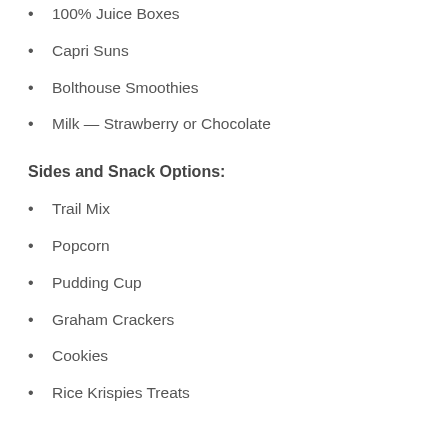100% Juice Boxes
Capri Suns
Bolthouse Smoothies
Milk — Strawberry or Chocolate
Sides and Snack Options:
Trail Mix
Popcorn
Pudding Cup
Graham Crackers
Cookies
Rice Krispies Treats